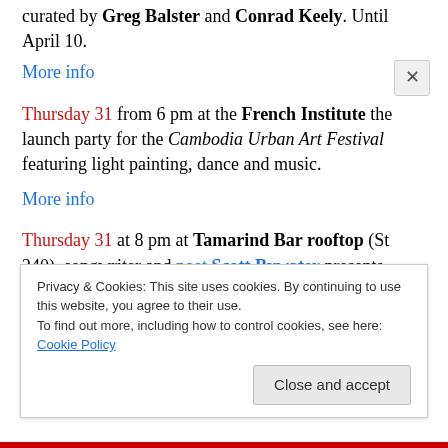curated by Greg Balster and Conrad Keely. Until April 10.
More info
Thursday 31 from 6 pm at the French Institute the launch party for the Cambodia Urban Art Festival featuring light painting, dance and music.
More info
Thursday 31 at 8 pm at Tamarind Bar rooftop (St 240), songwriter and poet Scott Bywater presents Under the Stars with Poetry and Song. For reservations call
Privacy & Cookies: This site uses cookies. By continuing to use this website, you agree to their use. To find out more, including how to control cookies, see here: Cookie Policy
Close and accept